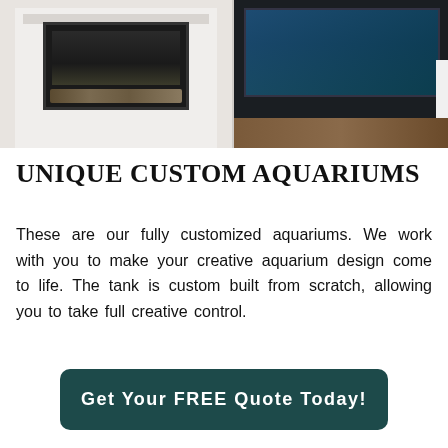[Figure (photo): Interior room photo showing a white shiplap fireplace on the left side and a dark navy built-in aquarium on the right side, with hardwood flooring visible.]
UNIQUE CUSTOM AQUARIUMS
These are our fully customized aquariums. We work with you to make your creative aquarium design come to life. The tank is custom built from scratch, allowing you to take full creative control.
Get Your FREE Quote Today!